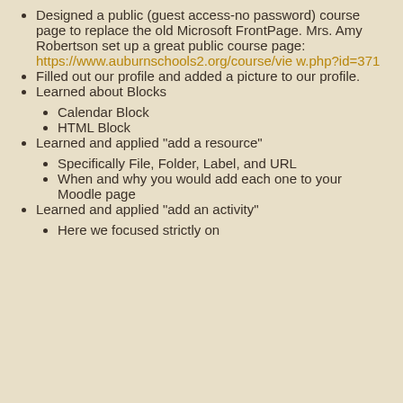Designed a public (guest access-no password) course page to replace the old Microsoft FrontPage. Mrs. Amy Robertson set up a great public course page: https://www.auburnschools2.org/course/view.php?id=371
Filled out our profile and added a picture to our profile.
Learned about Blocks
Calendar Block
HTML Block
Learned and applied "add a resource"
Specifically File, Folder, Label, and URL
When and why you would add each one to your Moodle page
Learned and applied "add an activity"
Here we focused strictly on